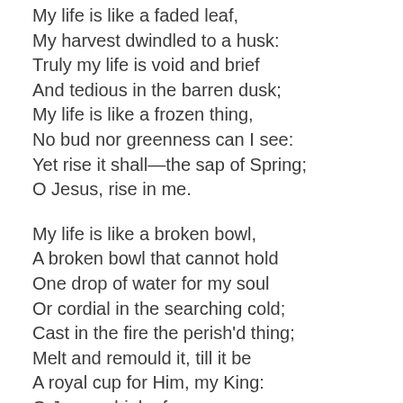My life is like a faded leaf,
My harvest dwindled to a husk:
Truly my life is void and brief
And tedious in the barren dusk;
My life is like a frozen thing,
No bud nor greenness can I see:
Yet rise it shall—the sap of Spring;
O Jesus, rise in me.

My life is like a broken bowl,
A broken bowl that cannot hold
One drop of water for my soul
Or cordial in the searching cold;
Cast in the fire the perish'd thing;
Melt and remould it, till it be
A royal cup for Him, my King:
O Jesus, drink of me.